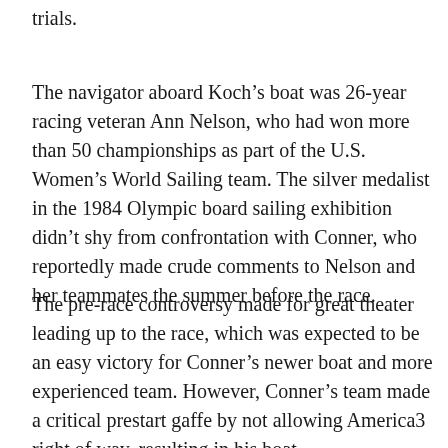trials.
The navigator aboard Koch’s boat was 26-year racing veteran Ann Nelson, who had won more than 50 championships as part of the U.S. Women’s World Sailing team. The silver medalist in the 1984 Olympic board sailing exhibition didn’t shy from confrontation with Conner, who reportedly made crude comments to Nelson and her teammates the summer before the race.
The pre-race controversy made for great theater leading up to the race, which was expected to be an easy victory for Conner’s newer boat and more experienced team. However, Conner’s team made a critical prestart gaffe by not allowing America3 right of way, resulting in his boat